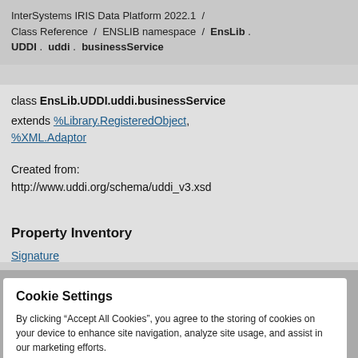InterSystems IRIS Data Platform 2022.1 / Class Reference / ENSLIB namespace / EnsLib . UDDI . uddi . businessService
class EnsLib.UDDI.uddi.businessService extends %Library.RegisteredObject, %XML.Adaptor
Created from:
http://www.uddi.org/schema/uddi_v3.xsd
Property Inventory
Signature
Cookie Settings
By clicking “Accept All Cookies”, you agree to the storing of cookies on your device to enhance site navigation, analyze site usage, and assist in our marketing efforts.